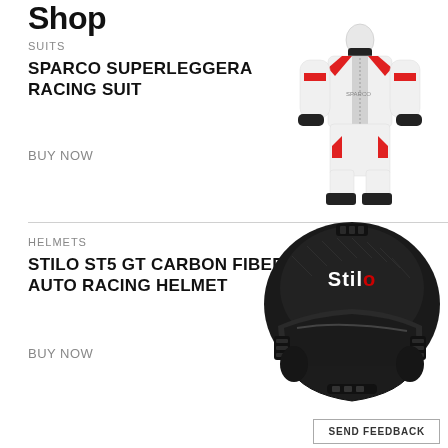Shop
SUITS
SPARCO SUPERLEGGERA RACING SUIT
BUY NOW
[Figure (photo): Sparco Superleggera white and red racing suit]
HELMETS
STILO ST5 GT CARBON FIBER AUTO RACING HELMET
BUY NOW
[Figure (photo): Stilo ST5 GT Carbon Fiber black auto racing helmet with Stilo logo]
SEND FEEDBACK